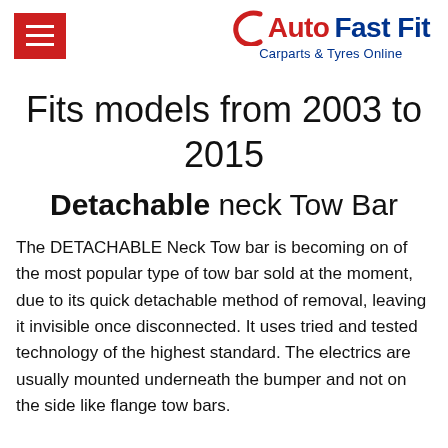Auto Fast Fit – Carparts & Tyres Online
Fits models from 2003 to 2015
Detachable neck Tow Bar
The DETACHABLE Neck Tow bar is becoming on of the most popular type of tow bar sold at the moment, due to its quick detachable method of removal, leaving it invisible once disconnected. It uses tried and tested technology of the highest standard. The electrics are usually mounted underneath the bumper and not on the side like flange tow bars.